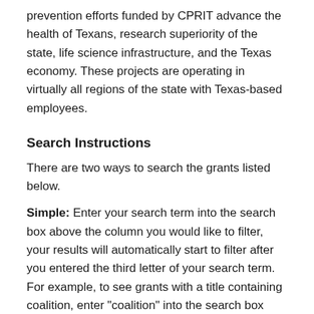prevention efforts funded by CPRIT advance the health of Texans, research superiority of the state, life science infrastructure, and the Texas economy. These projects are operating in virtually all regions of the state with Texas-based employees.
Search Instructions
There are two ways to search the grants listed below.
Simple: Enter your search term into the search box above the column you would like to filter, your results will automatically start to filter after you entered the third letter of your search term. For example, to see grants with a title containing coalition, enter "coalition" into the search box above Title.
Multiple: To search for grants that are part of a coalition that focus on colorectal cancer, enter "coalition" into the